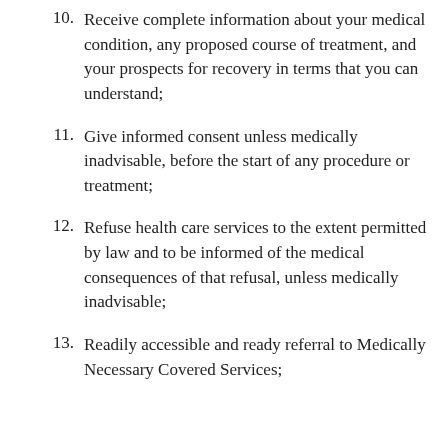10. Receive complete information about your medical condition, any proposed course of treatment, and your prospects for recovery in terms that you can understand;
11. Give informed consent unless medically inadvisable, before the start of any procedure or treatment;
12. Refuse health care services to the extent permitted by law and to be informed of the medical consequences of that refusal, unless medically inadvisable;
13. Readily accessible and ready referral to Medically Necessary Covered Services;